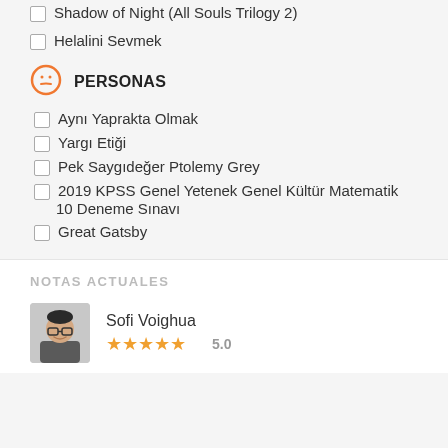☐ Shadow of Night (All Souls Trilogy 2)
☐ Helalini Sevmek
PERSONAS
☐ Aynı Yaprakta Olmak
☐ Yargı Etiği
☐ Pek Saygıdeğer Ptolemy Grey
☐ 2019 KPSS Genel Yetenek Genel Kültür Matematik 10 Deneme Sınavı
☐ Great Gatsby
NOTAS ACTUALES
Sofi Voighua
★★★★★ 5.0